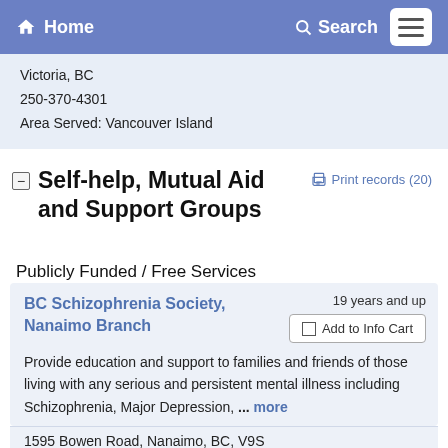Home  Search
Victoria, BC
250-370-4301
Area Served: Vancouver Island
Self-help, Mutual Aid and Support Groups
Print records (20)
Publicly Funded / Free Services
BC Schizophrenia Society, Nanaimo Branch
19 years and up
Add to Info Cart
Provide education and support to families and friends of those living with any serious and persistent mental illness including Schizophrenia, Major Depression, ... more
1595 Bowen Road, Nanaimo, BC, V9S